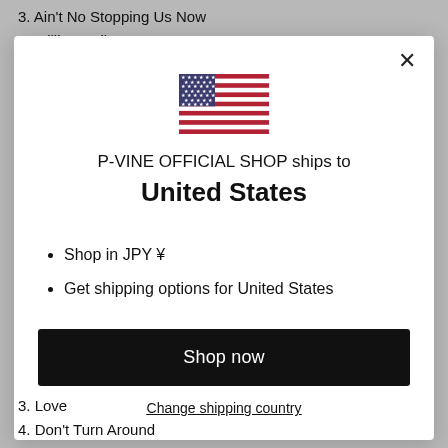3. Ain't No Stopping Us Now
4. Million Dollars
[Figure (screenshot): Modal dialog showing US flag, text 'P-VINE OFFICIAL SHOP ships to United States', bullet points 'Shop in JPY ¥' and 'Get shipping options for United States', a black 'Shop now' button, and a 'Change shipping country' link.]
3. Love
4. Don't Turn Around